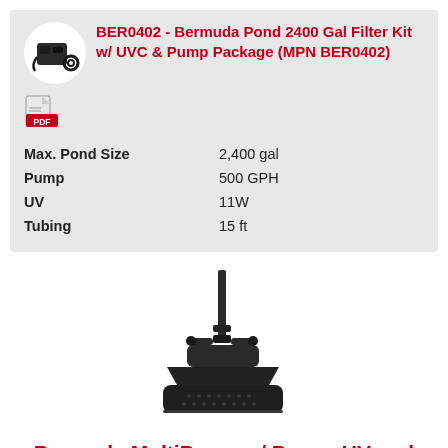BER0402 - Bermuda Pond 2400 Gal Filter Kit w/ UVC & Pump Package (MPN BER0402)
| Max. Pond Size | 2,400 gal |
| Pump | 500 GPH |
| UV | 11W |
| Tubing | 15 ft |
[Figure (photo): Photo of a Bermuda MultiPump pond pump device with a tall vertical pipe/nozzle on top and a black base with ridged surface]
Bermuda MultiPump w/ Pump, UV and